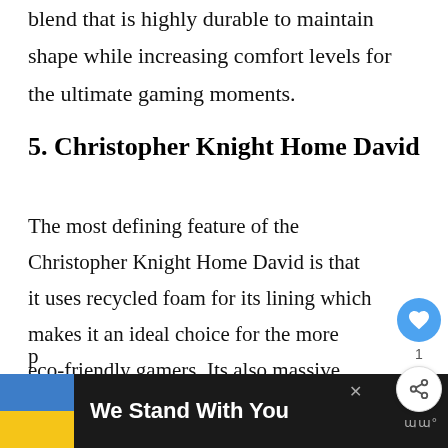blend that is highly durable to maintain shape while increasing comfort levels for the ultimate gaming moments.
5. Christopher Knight Home David
The most defining feature of the Christopher Knight Home David is that it uses recycled foam for its lining which makes it an ideal choice for the more eco-friendly gamers. Its also massive measuring 6×8″ and it dons microfiber suede fabric and foam filling for
p
[Figure (screenshot): We Stand With You banner with Ukraine flag colors (blue and yellow), close button, and logo icon on dark background]